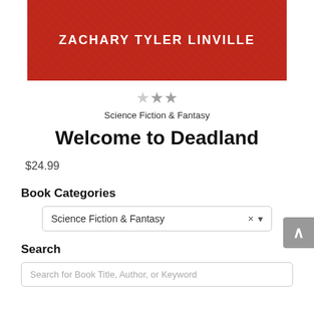[Figure (photo): Book cover with red textured background showing author name ZACHARY TYLER LINVILLE in white bold letters]
[Figure (other): Star rating showing approximately 2.5 out of 5 stars in gray]
Science Fiction & Fantasy
Welcome to Deadland
$24.99
Book Categories
Science Fiction & Fantasy
Search
Search for Book Title, Author, or Keyword